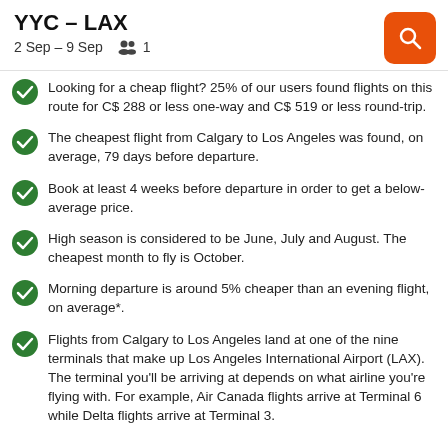YYC – LAX
2 Sep – 9 Sep   1
Looking for a cheap flight? 25% of our users found flights on this route for C$ 288 or less one-way and C$ 519 or less round-trip.
The cheapest flight from Calgary to Los Angeles was found, on average, 79 days before departure.
Book at least 4 weeks before departure in order to get a below-average price.
High season is considered to be June, July and August. The cheapest month to fly is October.
Morning departure is around 5% cheaper than an evening flight, on average*.
Flights from Calgary to Los Angeles land at one of the nine terminals that make up Los Angeles International Airport (LAX). The terminal you'll be arriving at depends on what airline you're flying with. For example, Air Canada flights arrive at Terminal 6 while Delta flights arrive at Terminal 3.